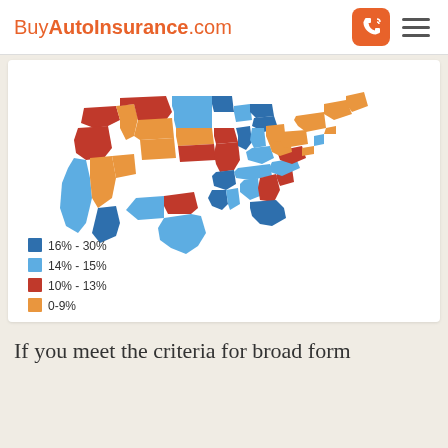BuyAutoInsurance.com
[Figure (map): Choropleth map of the United States showing percentage ranges of uninsured drivers by state, colored in four categories: 16%-30% (dark blue), 14%-15% (light blue), 10%-13% (dark orange/red), 0-9% (light orange).]
If you meet the criteria for broad form